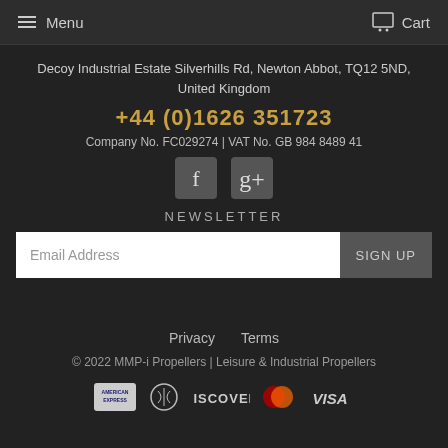Menu   Cart
Decoy Industrial Estate Silverhills Rd, Newton Abbot, TQ12 5ND, United Kingdom
+44 (0)1626 351723
Company No. FC029274 | VAT No. GB 984 8489 41
[Figure (logo): Facebook and Google+ social media icons]
NEWSLETTER
Email Address
SIGN UP
Privacy   Terms
© 2022 MMP-i Propellers | Leisure & Industrial Propellers
[Figure (logo): Payment method logos: American Express, Diners Club, Discover, Mastercard, Visa]